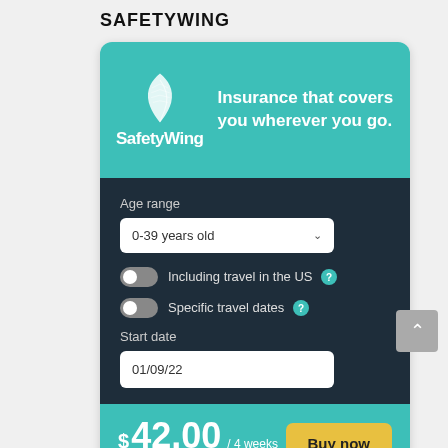SAFETYWING
[Figure (screenshot): SafetyWing insurance widget showing logo, tagline 'Insurance that covers you wherever you go.', age range selector set to '0-39 years old', toggles for 'Including travel in the US' and 'Specific travel dates', start date field showing '01/09/22', price of $42.00 / 4 weeks (28 days), and a yellow 'Buy now' button.]